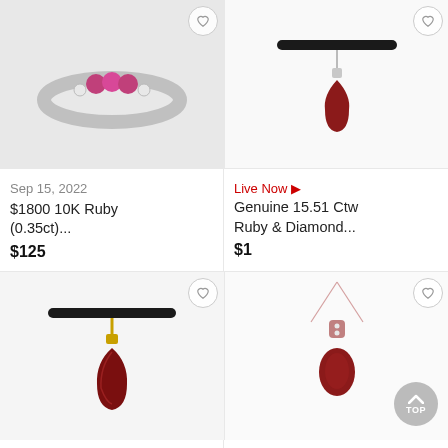[Figure (photo): Photo of a ruby and diamond ring in white gold/silver setting]
Sep 15, 2022
$1800 10K Ruby (0.35ct)...
$125
[Figure (photo): Photo of a ruby teardrop pendant on a black velvet choker necklace]
Live Now ▶
Genuine 15.51 Ctw Ruby & Diamond...
$1
[Figure (photo): Photo of a dark ruby carved pendant on black velvet choker necklace]
Live Now ▶
[Figure (photo): Photo of an oval ruby pendant necklace on rose gold chain]
7 hours left...